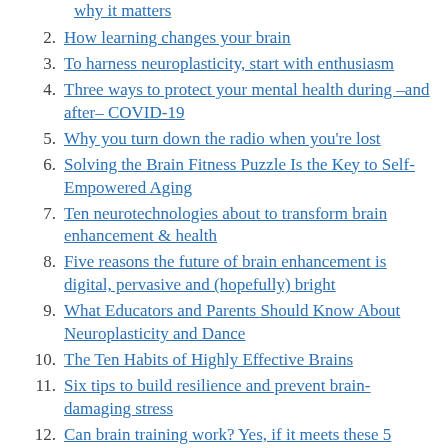why it matters
2. How learning changes your brain
3. To harness neuroplasticity, start with enthusiasm
4. Three ways to protect your mental health during –and after– COVID-19
5. Why you turn down the radio when you're lost
6. Solving the Brain Fitness Puzzle Is the Key to Self-Empowered Aging
7. Ten neurotechnologies about to transform brain enhancement & health
8. Five reasons the future of brain enhancement is digital, pervasive and (hopefully) bright
9. What Educators and Parents Should Know About Neuroplasticity and Dance
10. The Ten Habits of Highly Effective Brains
11. Six tips to build resilience and prevent brain-damaging stress
12. Can brain training work? Yes, if it meets these 5 conditions